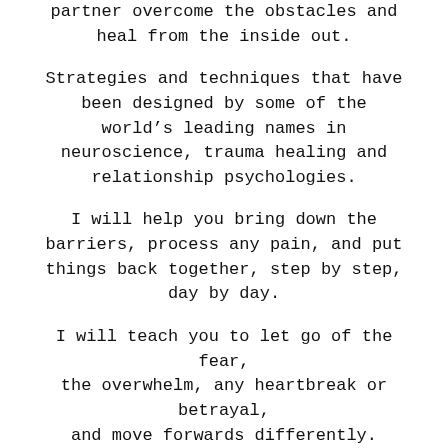partner overcome the obstacles and heal from the inside out.
Strategies and techniques that have been designed by some of the world’s leading names in neuroscience, trauma healing and relationship psychologies.
I will help you bring down the barriers, process any pain, and put things back together, step by step, day by day.
I will teach you to let go of the fear, the overwhelm, any heartbreak or betrayal, and move forwards differently.
I can support you wherever you are